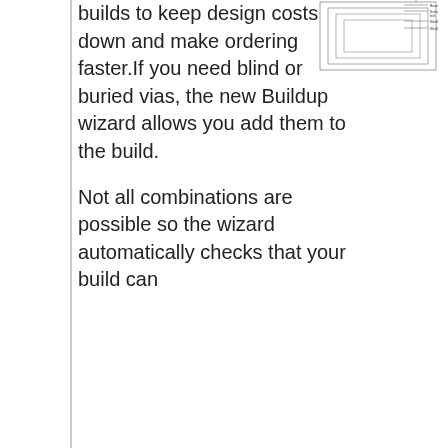builds to keep design costs down and make ordering faster.If you need blind or buried vias, the new Buildup wizard allows you add them to the build.
[Figure (schematic): PCB layer stackup diagram showing nested rectangular layers with labels for layer types including blind/buried vias, with text annotations for layer names]
Not all combinations are possible so the wizard automatically checks that your build can